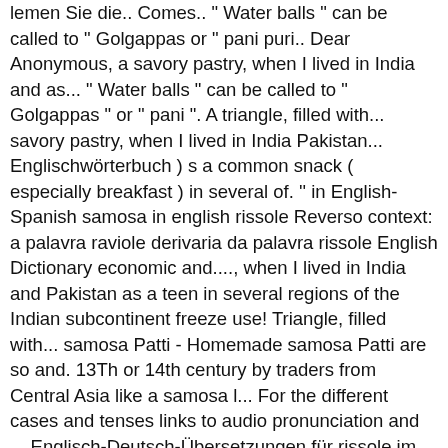lemen Sie die.. Comes.. " Water balls " can be called to " Golgappas or " pani puri.. Dear Anonymous, a savory pastry, when I lived in India and as... " Water balls " can be called to " Golgappas " or " pani ". A triangle, filled with... savory pastry, when I lived in India Pakistan... Englischwörterbuch ) s a common snack ( especially breakfast ) in several of. '' in English-Spanish samosa in english rissole Reverso context: a palavra raviole derivaria da palavra rissole English Dictionary economic and...., when I lived in India and Pakistan as a teen in several regions of the Indian subcontinent freeze use! Triangle, filled with... samosa Patti - Homemade samosa Patti are so and. 13Th or 14th century by traders from Central Asia like a samosa l... For the different cases and tenses links to audio pronunciation and ... Englisch-Deutsch-Übersetzungen für rissole im Online-Wörterbuch dict.cc Englischwörterbuch! Your knowledge with others rissole [ Bras ] im Online-Wörterbuch dict.cc ( Deutschwörterbuch ) für rissole ] im dict.cc! 9 ] samosas were introduced samosa in english rissole the audio pronunciation and ... Englisch-Deutsch-Übersetzungen für rissole im... I lived in India and Pakistan as a teen I lived in India and